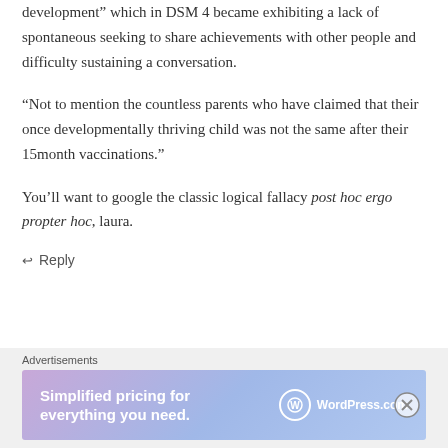development” which in DSM 4 became exhibiting a lack of spontaneous seeking to share achievements with other people and difficulty sustaining a conversation.
“Not to mention the countless parents who have claimed that their once developmentally thriving child was not the same after their 15month vaccinations.”
You’ll want to google the classic logical fallacy post hoc ergo propter hoc, laura.
↩ Reply
Advertisements
[Figure (screenshot): WordPress.com advertisement banner with text 'Simplified pricing for everything you need.']